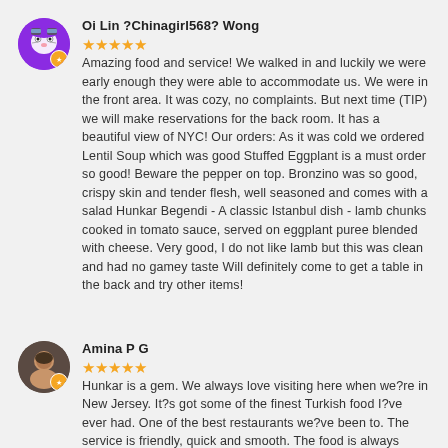Oi Lin ?Chinagirl568? Wong
★★★★★ Amazing food and service! We walked in and luckily we were early enough they were able to accommodate us. We were in the front area. It was cozy, no complaints. But next time (TIP) we will make reservations for the back room. It has a beautiful view of NYC! Our orders: As it was cold we ordered Lentil Soup which was good Stuffed Eggplant is a must order so good! Beware the pepper on top. Bronzino was so good, crispy skin and tender flesh, well seasoned and comes with a salad Hunkar Begendi - A classic Istanbul dish - lamb chunks cooked in tomato sauce, served on eggplant puree blended with cheese. Very good, I do not like lamb but this was clean and had no gamey taste Will definitely come to get a table in the back and try other items!
Amina P G
★★★★★ Hunkar is a gem. We always love visiting here when we?re in New Jersey. It?s got some of the finest Turkish food I?ve ever had. One of the best restaurants we?ve been to. The service is friendly, quick and smooth. The food is always fresh and consistently delicious. Everything off the menu is amazing. Make sure to get a